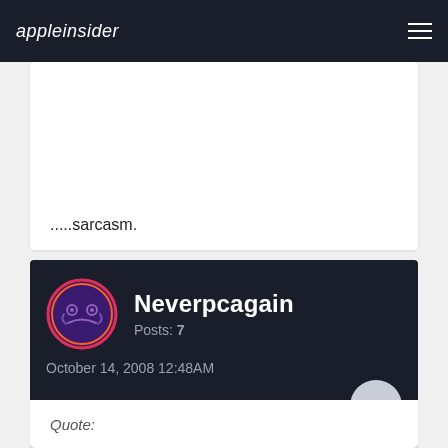appleinsider
.....sarcasm.
Neverpcagain
Posts: 7
October 14, 2008 12:48AM
Quote: